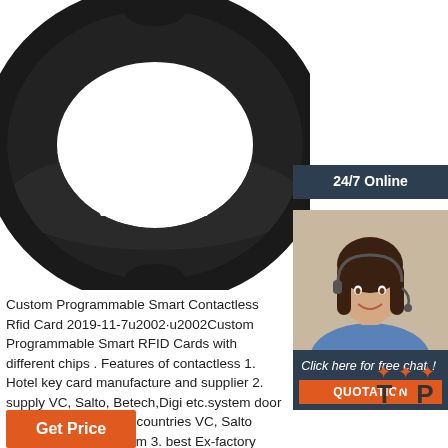[Figure (photo): Black RFID silicone wristband with ((RFID)) text, product photo on white background]
[Figure (photo): 24/7 Online customer service badge with smiling female agent wearing headset, blue/dark theme, with 'Click here for free chat!' text and orange QUOTATION button]
Custom Programmable Smart Contactless Rfid Card 2019-11-7u2002·u2002Custom Programmable Smart RFID Cards with different chips . Features of contactless 1. Hotel key card manufacture and supplier 2. supply VC, Salto, Betech,Digi etc.system door card, applicable to all countries VC, Salto Betech,Digi etc. system 3. best Ex-factory price 4. Free sample to test. 5. 13.56Mhz rfid hotel key card
[Figure (logo): TOP badge with orange dots above and stylized TOP text in dark color]
Get Price